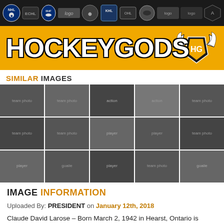[Figure (logo): Top navigation bar with hockey league logos on dark background (NHL, ECHL, IIHF, KHL, OHL and others)]
[Figure (logo): HockeyGods banner with yellow/gold background, white bold text 'HOCKEYGODS' and winged HG logo crest on right]
SIMILAR IMAGES
[Figure (photo): Grid of similar hockey images in black and white, showing team photos and player action shots arranged in 3 rows of 5-6 images]
IMAGE INFORMATION
Uploaded By: PRESIDENT on January 12th, 2018
Claude David Larose – Born March 2, 1942 in Hearst, Ontario is
Larose played most of his junior Hockey for the Peterborough